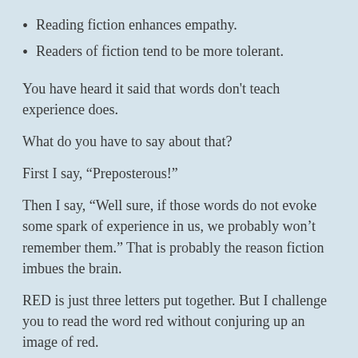Reading fiction enhances empathy.
Readers of fiction tend to be more tolerant.
You have heard it said that words don't teach experience does.
What do you have to say about that?
First I say, “Preposterous!”
Then I say, “Well sure, if those words do not evoke some spark of experience in us, we probably won’t remember them.” That is probably the reason fiction imbues the brain.
RED is just three letters put together. But I challenge you to read the word red without conjuring up an image of red.